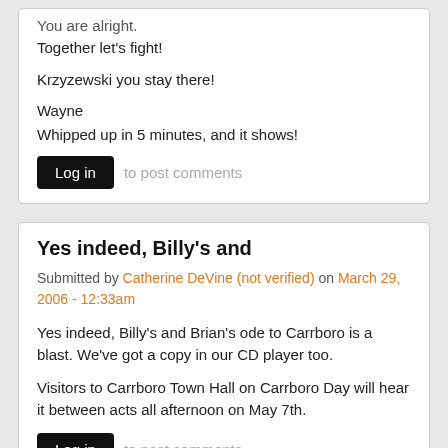You are alright.
Together let's fight!

Krzyzewski you stay there!

Wayne
Whipped up in 5 minutes, and it shows!
Log in to post comments
Yes indeed, Billy's and
Submitted by Catherine DeVine (not verified) on March 29, 2006 - 12:33am
Yes indeed, Billy's and Brian's ode to Carrboro is a blast. We've got a copy in our CD player too.
Visitors to Carrboro Town Hall on Carrboro Day will hear it between acts all afternoon on May 7th.
Log in to post comments